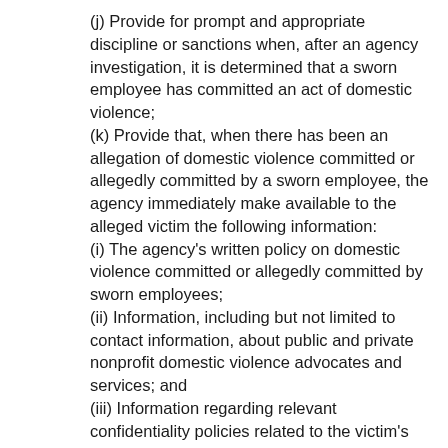(j) Provide for prompt and appropriate discipline or sanctions when, after an agency investigation, it is determined that a sworn employee has committed an act of domestic violence;
(k) Provide that, when there has been an allegation of domestic violence committed or allegedly committed by a sworn employee, the agency immediately make available to the alleged victim the following information:
(i) The agency’s written policy on domestic violence committed or allegedly committed by sworn employees;
(ii) Information, including but not limited to contact information, about public and private nonprofit domestic violence advocates and services; and
(iii) Information regarding relevant confidentiality policies related to the victim’s information;
(l) Provide procedures for the timely response, consistent with chapters 42.56 and 10.97 RCW, to an alleged victim’s inquiries into the status of the